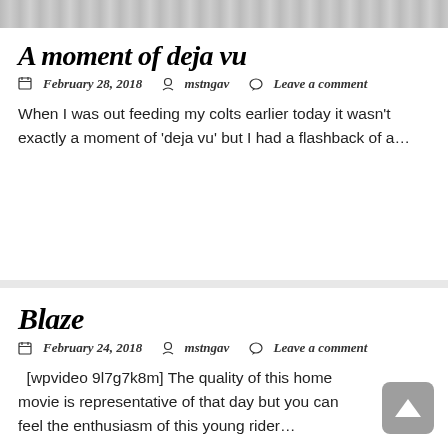[Figure (photo): Partial image at top of first blog post card, showing a snowy or icy textured surface]
A moment of deja vu
📅 February 28, 2018  👤 mstngav  💬 Leave a comment
When I was out feeding my colts earlier today it wasn't exactly a moment of 'deja vu' but I had a flashback of a…
Blaze
📅 February 24, 2018  👤 mstngav  💬 Leave a comment
[wpvideo 9l7g7k8m] The quality of this home movie is representative of that day but you can feel the enthusiasm of this young rider…